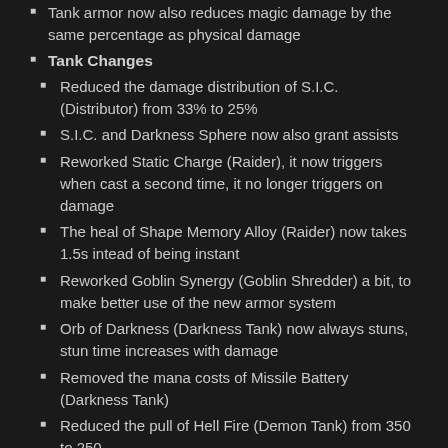Tank armor now also reduces magic damage by the same percentage as physical damage
Tank Changes
Reduced the damage distribution of S.I.C. (Distributor) from 33% to 25%
S.I.C. and Darkness Sphere now also grant assists
Reworked Static Charge (Raider), it now triggers when cast a second time, it no longer triggers on damage
The heal of Shape Memory Alloy (Raider) now takes 1.5s intead of being instant
Reworked Goblin Synergy (Goblin Shredder) a bit, to make better use of the new armor system
Orb of Darkness (Darkness Tank) now always stuns, stun time increases with damage
Removed the mana costs of Missile Battery (Darkness Tank)
Reduced the pull of Hell Fire (Demon Tank) from 350 to 250
Reduced the activation of Devastator Shot...